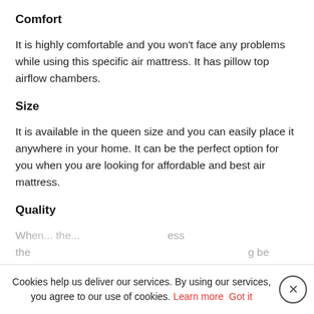Comfort
It is highly comfortable and you won't face any problems while using this specific air mattress. It has pillow top airflow chambers.
Size
It is available in the queen size and you can easily place it anywhere in your home. It can be the perfect option for you when you are looking for affordable and best air mattress.
Quality
When... the... ing be two way pump.
Cookies help us deliver our services. By using our services, you agree to our use of cookies. Learn more  Got it